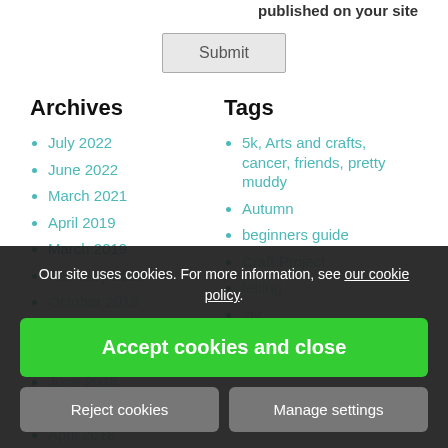published on your site
Submit
Archives
Tags
July 2022
June 2022
March 2021
April 2019
March 2019
February 2019
October 2018
September 2018
August 2018
June 2018
May 2018
April 2018
5k, Arts and crafts, cancer, friends, pretty muddy
Autumn
beginners guide
Craft Project
felting
joy
Our site uses cookies. For more information, see our cookie policy.
Accept cookies and close
Reject cookies
Manage settings